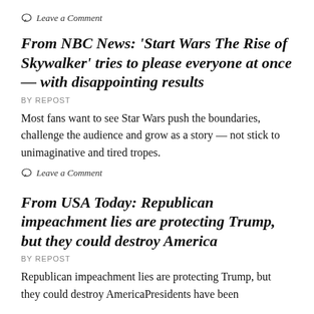Leave a Comment
From NBC News: ‘Start Wars The Rise of Skywalker’ tries to please everyone at once — with disappointing results
BY REPOST
Most fans want to see Star Wars push the boundaries, challenge the audience and grow as a story — not stick to unimaginative and tired tropes.
Leave a Comment
From USA Today: Republican impeachment lies are protecting Trump, but they could destroy America
BY REPOST
Republican impeachment lies are protecting Trump, but they could destroy AmericaPresidents have been